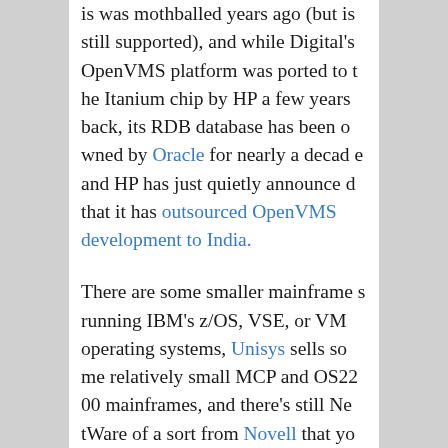is was mothballed years ago (but is still supported), and while Digital's OpenVMS platform was ported to the Itanium chip by HP a few years back, its RDB database has been owned by Oracle for nearly a decade and HP has just quietly announced that it has outsourced OpenVMS development to India.
There are some smaller mainframes running IBM's z/OS, VSE, or VM operating systems, Unisys sells some relatively small MCP and OS2200 mainframes, and there's still NetWare of a sort from Novell that you might consider proprietary (it is basically NetWare services running atop Linux at this point). Bull even has an emulation layer that allows GCOS 7 and GCOS 8 applications to run on its Itanium-based Novascale systems running Linux.